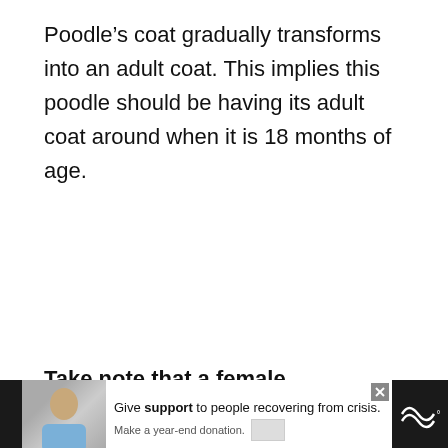Poodle’s coat gradually transforms into an adult coat. This implies this poodle should be having its adult coat around when it is 18 months of age.
Take note that a female poodle sheds more than normal when it is in the heat cycle. This is not unconnected to hormonal changes in estrogen levels.
West Highland Terrier
[Figure (screenshot): Ad banner at bottom: image of woman, text 'Give support to people recovering from crisis. Make a year-end donation.' with close button and Tidal logo]